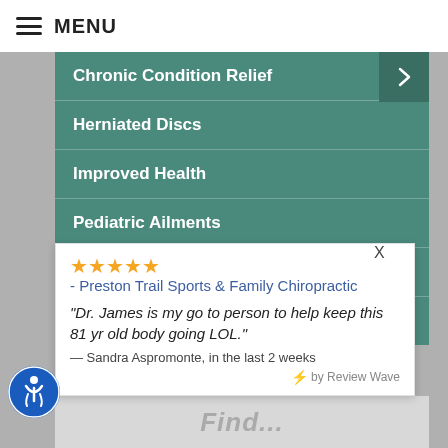MENU
Chronic Condition Relief
Herniated Discs
Improved Health
Pediatric Ailments
Repetitive Use Injuries
Respiratory Function
★★★★★ - Preston Trail Sports & Family Chiropractic
"Dr. James is my go to person to help keep this 81 yr old body going LOL."
— Sandra Aspromonte, in the last 2 weeks
by Review Wave